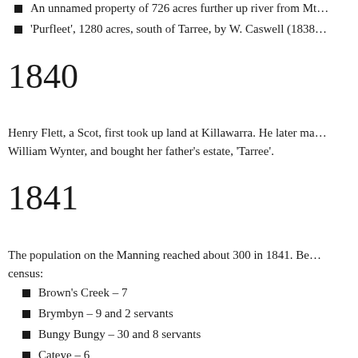An unnamed property of 726 acres further up river from Mt…
'Purfleet', 1280 acres, south of Tarree, by W. Caswell (1838…
1840
Henry Flett, a Scot, first took up land at Killawarra. He later ma… William Wynter, and bought her father's estate, 'Tarree'.
1841
The population on the Manning reached about 300 in 1841. Be… census:
Brown's Creek – 7
Brymbyn – 9 and 2 servants
Bungy Bungy – 30 and 8 servants
Cateye – 6
Cole Bottom – 13…